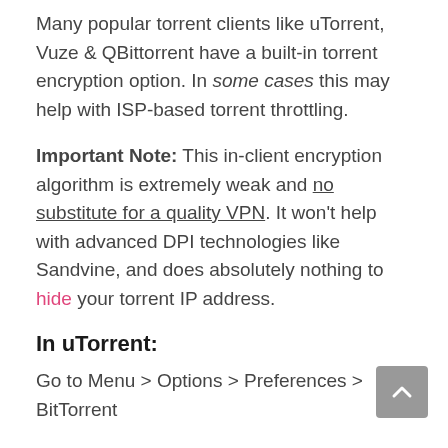Many popular torrent clients like uTorrent, Vuze & QBittorrent have a built-in torrent encryption option. In some cases this may help with ISP-based torrent throttling.
Important Note: This in-client encryption algorithm is extremely weak and no substitute for a quality VPN. It won't help with advanced DPI technologies like Sandvine, and does absolutely nothing to hide your torrent IP address.
In uTorrent:
Go to Menu > Options > Preferences > BitTorrent
Then match your protocol encryption settings to the screenshot as shown: